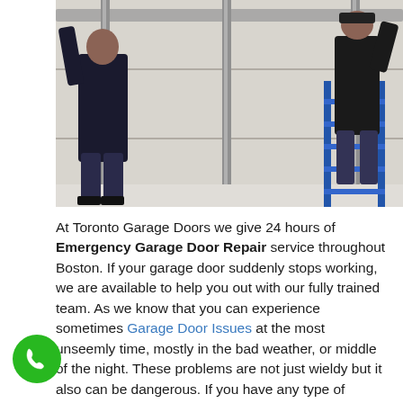[Figure (photo): Two workers installing or repairing a large white garage door. One worker stands on the left side wearing dark clothing, the other is on a blue ladder on the right side also wearing dark clothing. The garage door has vertical metal tracks on both sides.]
At Toronto Garage Doors we give 24 hours of Emergency Garage Door Repair service throughout Boston. If your garage door suddenly stops working, we are available to help you out with our fully trained team. As we know that you can experience sometimes Garage Door Issues at the most unseemly time, mostly in the bad weather, or middle of the night. These problems are not just wieldy but it also can be dangerous. If you have any type of troubles then we are available any